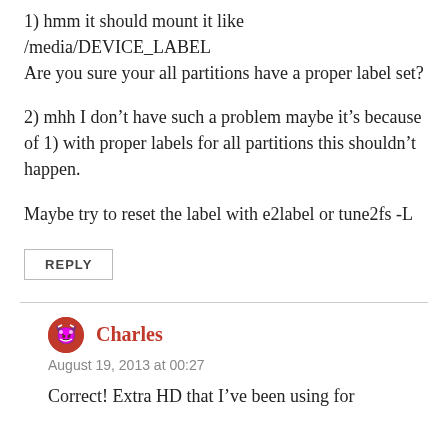1) hmm it should mount it like /media/DEVICE_LABEL
Are you sure your all partitions have a proper label set?
2) mhh I don't have such a problem maybe it's because of 1) with proper labels for all partitions this shouldn't happen.
Maybe try to reset the label with e2label or tune2fs -L
REPLY
Charles
August 19, 2013 at 00:27
Correct! Extra HD that I've been using for